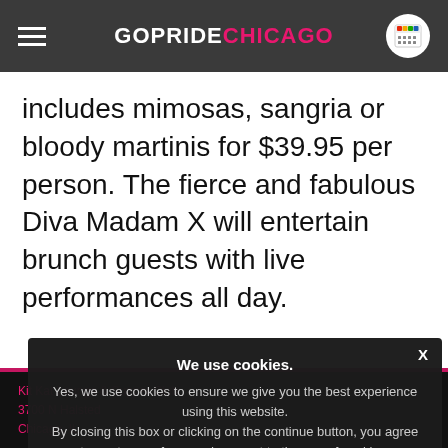GOPRIDE CHICAGO
includes mimosas, sangria or bloody martinis for $39.95 per person. The fierce and fabulous Diva Madam X will entertain brunch guests with live performances all day.
Kit Kat Lounge & Supper Club
3700 N Halsted
Chicago, IL
Mia Francesca
We use cookies.
Yes, we use cookies to ensure we give you the best experience using this website.
By closing this box or clicking on the continue button, you agree to our terms of use and consent to the use of cookies.